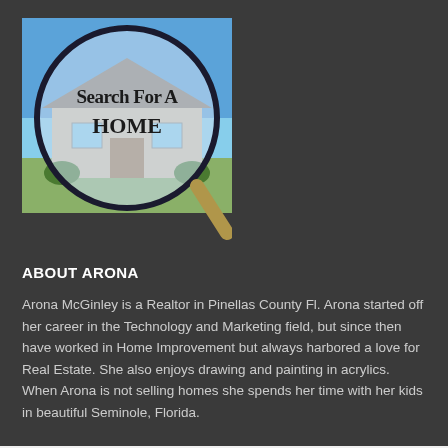[Figure (illustration): A real estate search image showing a house through a magnifying glass lens with text 'Search For A HOME' overlaid on the lens]
ABOUT ARONA
Arona McGinley is a Realtor in Pinellas County Fl. Arona started off her career in the Technology and Marketing field, but since then have worked in Home Improvement but always harbored a love for Real Estate. She also enjoys drawing and painting in acrylics. When Arona is not selling homes she spends her time with her kids in beautiful Seminole, Florida.
Proudly powered by WordPress | Theme: Edin by